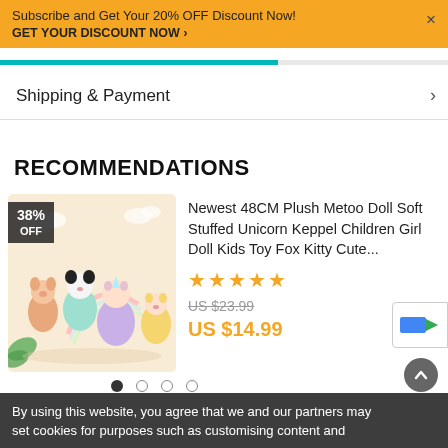Subscribe and Get Your 20% OFF Discount Now! GET YOUR DISCOUNT NOW ›
Shipping & Payment
RECOMMENDATIONS
[Figure (photo): Product photo of plush Metoo dolls with 38% OFF badge, showing four colorful stuffed unicorn/kitty/fox dolls on a pastel background with clouds and rainbow]
Newest 48CM Plush Metoo Doll Soft Stuffed Unicorn Keppel Children Girl Doll Kids Toy Fox Kitty Cute...
★★★★★
US $23.99
US $14.99
By using this website, you agree that we and our partners may set cookies for purposes such as customising content and